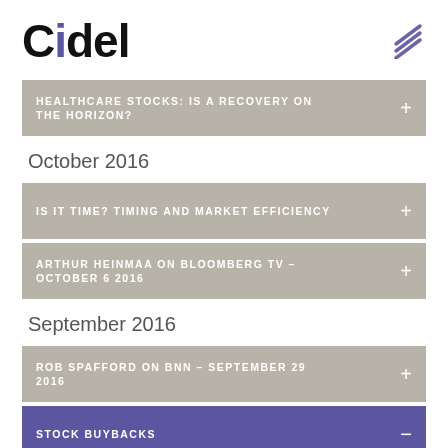[Figure (logo): Cidel logo with purple dot over 'i' and purple diagonal lines icon top right]
HEALTHCARE STOCKS: IS A RECOVERY ON THE HORIZON?
October 2016
IS IT TIME? TIMING AND MARKET EFFICIENCY
ARTHUR HEINMAA ON BLOOMBERG TV – OCTOBER 6 2016
September 2016
ROB SPAFFORD ON BNN – SEPTEMBER 29 2016
STOCK BUYBACKS
Global equities produced modest gains in August, with emerging markets continuing to perform well. 10-